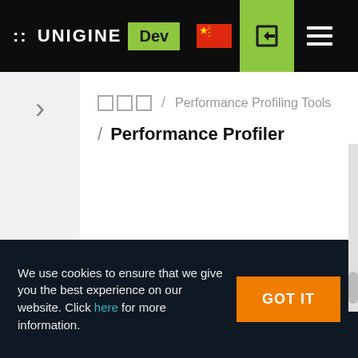:: UNIGINE Dev
□□□ / Performance Profiling Tools
/ Performance Profiler
We use cookies to ensure that we give you the best experience on our website. Click here for more information.
GOT IT